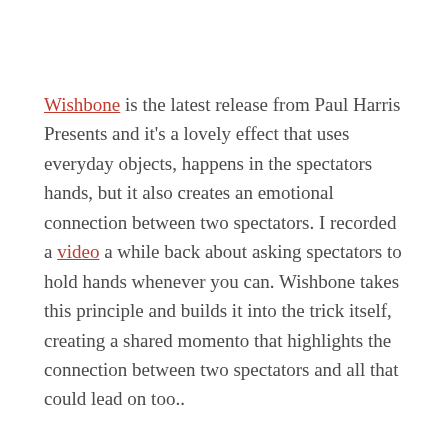Wishbone is the latest release from Paul Harris Presents and it's a lovely effect that uses everyday objects, happens in the spectators hands, but it also creates an emotional connection between two spectators. I recorded a video a while back about asking spectators to hold hands whenever you can. Wishbone takes this principle and builds it into the trick itself, creating a shared momento that highlights the connection between two spectators and all that could lead on too..